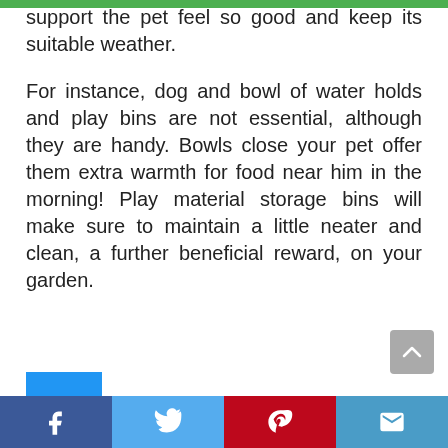support the pet feel so good and keep its suitable weather.
For instance, dog and bowl of water holds and play bins are not essential, although they are handy. Bowls close your pet offer them extra warmth for food near him in the morning! Play material storage bins will make sure to maintain a little neater and clean, a further beneficial reward, on your garden.
6.
Form
Facebook Twitter Pinterest Email